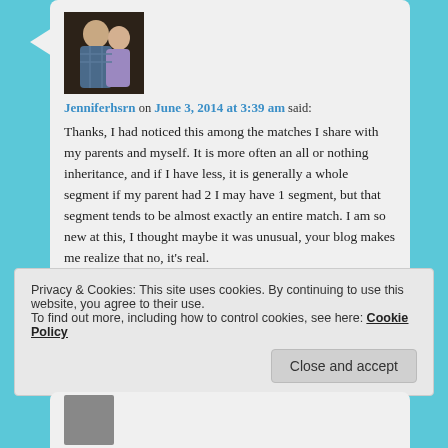[Figure (photo): Avatar photo showing two people (a man and a woman), used as commenter profile picture]
Jenniferhsrn on June 3, 2014 at 3:39 am said:
Thanks, I had noticed this among the matches I share with my parents and myself. It is more often an all or nothing inheritance, and if I have less, it is generally a whole segment if my parent had 2 I may have 1 segment, but that segment tends to be almost exactly an entire match. I am so new at this, I thought maybe it was unusual, your blog makes me realize that no, it's real.
Privacy & Cookies: This site uses cookies. By continuing to use this website, you agree to their use.
To find out more, including how to control cookies, see here: Cookie Policy